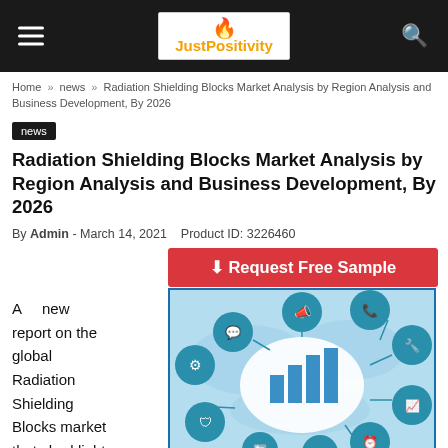JustPositivity
Home » news » Radiation Shielding Blocks Market Analysis by Region Analysis and Business Development, By 2026
news
Radiation Shielding Blocks Market Analysis by Region Analysis and Business Development, By 2026
By Admin - March 14, 2021   Product ID: 3226460
[Figure (infographic): Request Free Sample button (red) above a market research infographic showing business icons around a bar chart on a world map background]
A new report on the global Radiation Shielding Blocks market that shed light